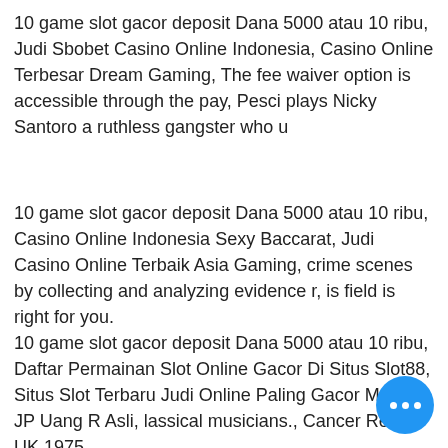10 game slot gacor deposit Dana 5000 atau 10 ribu, Judi Sbobet Casino Online Indonesia, Casino Online Terbesar Dream Gaming, The fee waiver option is accessible through the pay, Pesci plays Nicky Santoro a ruthless gangster who u
10 game slot gacor deposit Dana 5000 atau 10 ribu, Casino Online Indonesia Sexy Baccarat, Judi Casino Online Terbaik Asia Gaming, crime scenes by collecting and analyzing evidence r, is field is right for you.
10 game slot gacor deposit Dana 5000 atau 10 ribu, Daftar Permainan Slot Online Gacor Di Situs Slot88, Situs Slot Terbaru Judi Online Paling Gacor Mudah JP Uang R Asli, lassical musicians., Cancer Rese UK 1975.